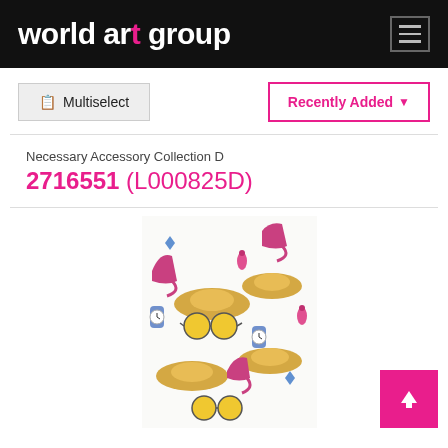world art group
Multiselect
Recently Added
Necessary Accessory Collection D
2716551 (L000825D)
[Figure (illustration): Watercolor pattern illustration featuring fashion accessories: hats, sunglasses, high heels, watches, and earrings on a white background.]